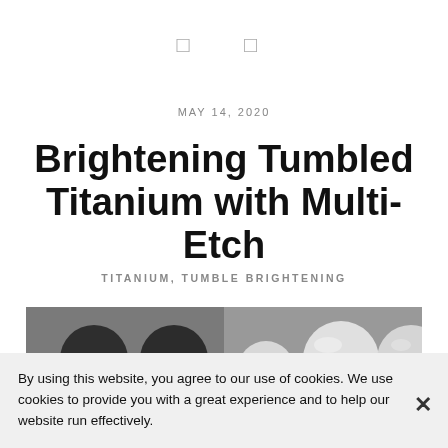[ ] [ ]
MAY 14, 2020
Brightening Tumbled Titanium with Multi-Etch
TITANIUM, TUMBLE BRIGHTENING
[Figure (photo): Side-by-side comparison of tumbled titanium discs: dark/dull on the left half, bright/shiny on the right half after Multi-Etch treatment, on a grey background.]
By using this website, you agree to our use of cookies. We use cookies to provide you with a great experience and to help our website run effectively.